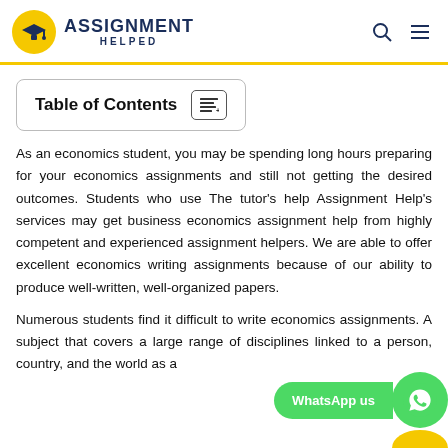Assignment Helped
Table of Contents
As an economics student, you may be spending long hours preparing for your economics assignments and still not getting the desired outcomes. Students who use The tutor's help Assignment Help's services may get business economics assignment help from highly competent and experienced assignment helpers. We are able to offer excellent economics writing assignments because of our ability to produce well-written, well-organized papers.
Numerous students find it difficult to write economics assignments. A subject that covers a large range of disciplines linked to a person, country, and the world as a